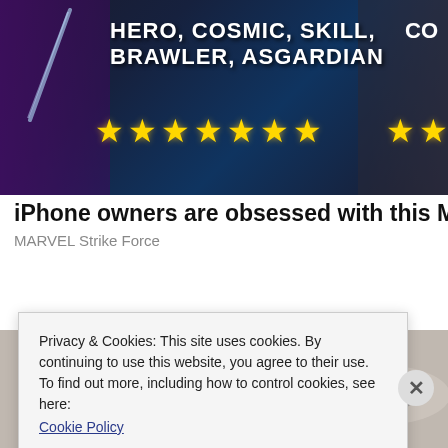[Figure (screenshot): MARVEL Strike Force game advertisement banner showing dark background with character silhouettes, text 'HERO, COSMIC, SKILL, BRAWLER, ASGARDIAN' in white bold uppercase, and two rows of yellow gold stars]
iPhone owners are obsessed with this Marv
MARVEL Strike Force
[Figure (photo): Partial background photo visible behind cookie consent banner, showing objects on a beige/tan surface]
Privacy & Cookies: This site uses cookies. By continuing to use this website, you agree to their use.
To find out more, including how to control cookies, see here:
Cookie Policy
Close and accept